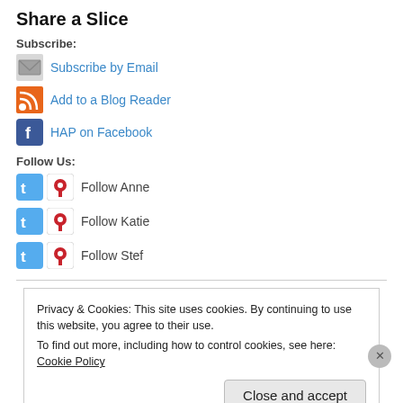Share a Slice
Subscribe:
Subscribe by Email
Add to a Blog Reader
HAP on Facebook
Follow Us:
Follow Anne
Follow Katie
Follow Stef
Privacy & Cookies: This site uses cookies. By continuing to use this website, you agree to their use. To find out more, including how to control cookies, see here: Cookie Policy
Close and accept